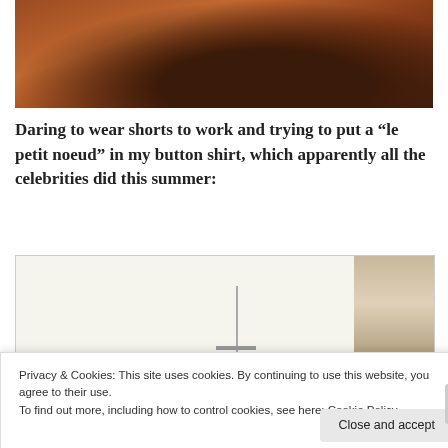[Figure (photo): Partial image at top showing what appears to be legs/feet on a warm-toned reddish-brown background, cropped at top of page]
Daring to wear shorts to work and trying to put a “le petit noeud” in my button shirt, which apparently all the celebrities did this summer:
[Figure (photo): Partial image showing a light-colored interior scene with a vertical rod/pole in center and what appears to be wooden shutters or slats on the right side]
Privacy & Cookies: This site uses cookies. By continuing to use this website, you agree to their use.
To find out more, including how to control cookies, see here: Cookie Policy
Close and accept